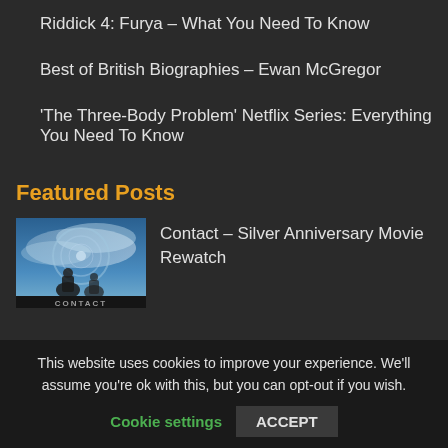Riddick 4: Furya – What You Need To Know
Best of British Biographies – Ewan McGregor
'The Three-Body Problem' Netflix Series: Everything You Need To Know
Featured Posts
[Figure (photo): Movie poster for 'Contact' showing a person against a sky background with the word CONTACT at the bottom]
Contact – Silver Anniversary Movie Rewatch
This website uses cookies to improve your experience. We'll assume you're ok with this, but you can opt-out if you wish.
Cookie settings   ACCEPT